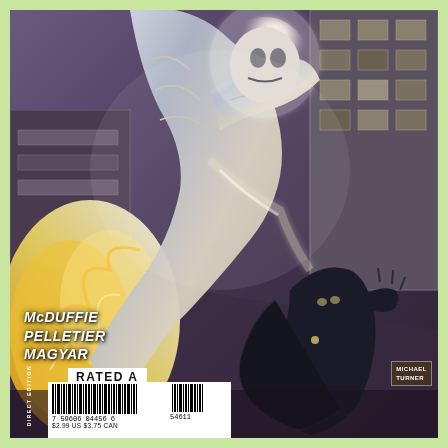[Figure (illustration): Comic book back cover illustration showing a large silver/white muscular figure with glowing energy leaning over a crouching black-suited figure (Black Panther) in an urban setting with buildings in the background. Dynamic action pose with golden fire/energy effects on the left side.]
McDUFFIE
PELLETIER
MAGYAR
RATED A
DIRECT EDITION
[Figure (other): Barcode with number 7 59606 04456 6 and supplemental code 54611]
$2.99 US  $3.75 CAN
MICHAEL
TURNER